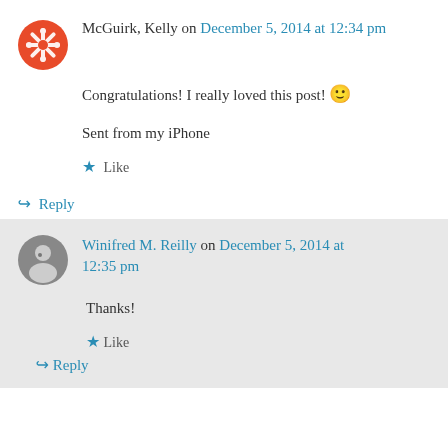McGuirk, Kelly on December 5, 2014 at 12:34 pm
Congratulations! I really loved this post! 🙂
Sent from my iPhone
★ Like
↳ Reply
Winifred M. Reilly on December 5, 2014 at 12:35 pm
Thanks!
★ Like
↳ Reply